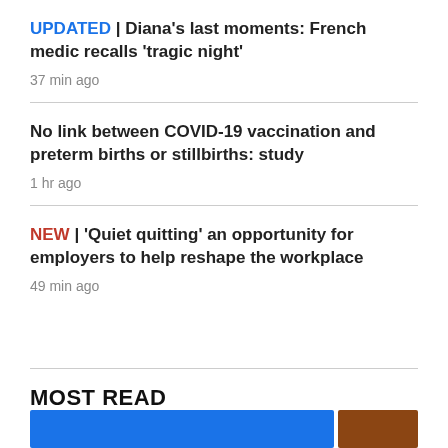UPDATED | Diana's last moments: French medic recalls 'tragic night'
37 min ago
No link between COVID-19 vaccination and preterm births or stillbirths: study
1 hr ago
NEW | 'Quiet quitting' an opportunity for employers to help reshape the workplace
49 min ago
MOST READ
[Figure (photo): Two thumbnail images at the bottom of the page, one blue and one brown/red]